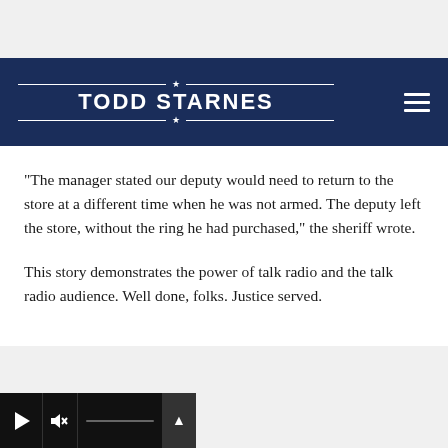TODD STARNES
“The manager stated our deputy would need to return to the store at a different time when he was not armed. The deputy left the store, without the ring he had purchased,” the sheriff wrote.
This story demonstrates the power of talk radio and the talk radio audience. Well done, folks. Justice served.